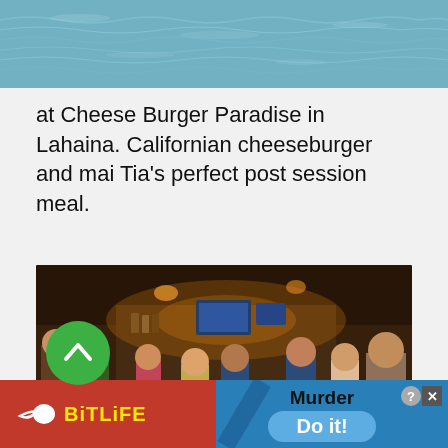[Figure (photo): Aerial or distant photo of ocean/sea surface with choppy blue-grey water]
at Cheese Burger Paradise in Lahaina. Californian cheeseburger and mai Tia's perfect post session meal.
[Figure (photo): Group of people dining together at Cheese Burger Paradise restaurant in Lahaina, indoor restaurant scene with bar in background, warm lighting]
[Figure (other): Advertisement banner: BitLife app ad with red background on left showing BitLife logo with sperm icon, and blue section on right showing 'Murder Do it!' with close button]